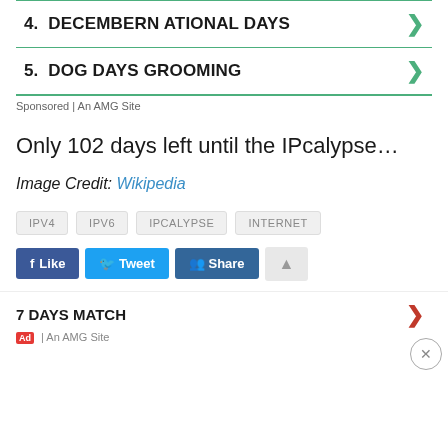4.  DECEMBERN ATIONAL DAYS
5.  DOG DAYS GROOMING
Sponsored | An AMG Site
Only 102 days left until the IPcalypse…
Image Credit: Wikipedia
IPV4  IPV6  IPCALYPSE  INTERNET
Like  Tweet  Share
7 DAYS MATCH
Ad | An AMG Site